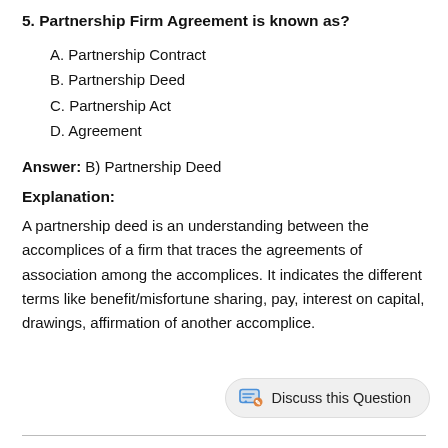5. Partnership Firm Agreement is known as?
A. Partnership Contract
B. Partnership Deed
C. Partnership Act
D. Agreement
Answer: B) Partnership Deed
Explanation:
A partnership deed is an understanding between the accomplices of a firm that traces the agreements of association among the accomplices. It indicates the different terms like benefit/misfortune sharing, pay, interest on capital, drawings, affirmation of another accomplice.